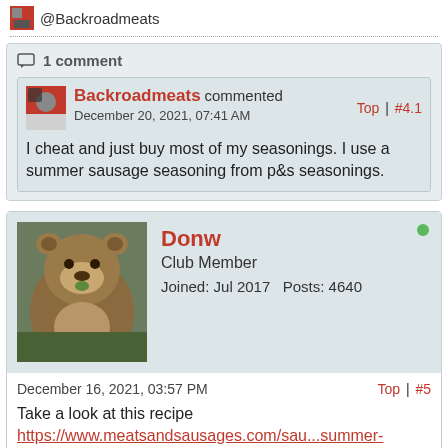@Backroadmeats
1 comment
Backroadmeats commented December 20, 2021, 07:41 AM Top | #4.1
I cheat and just buy most of my seasonings. I use a summer sausage seasoning from p&s seasonings.
[Figure (photo): User avatar of Donw, a photo of a brown bear]
Donw Club Member Joined: Jul 2017 Posts: 4640
December 16, 2021, 03:57 PM Top | #5
Take a look at this recipe
https://www.meatsandsausages.com/sau...summer-sausage